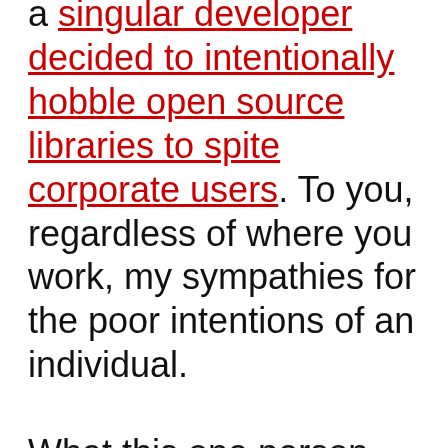a singular developer decided to intentionally hobble open source libraries to spite corporate users. To you, regardless of where you work, my sympathies for the poor intentions of an individual.

What this one person has done, in an effort to hurt the Big Guy, is cast doubt on the veracity and stability of open source software. Open Source Software (OSS) has had enough challenges over the years to create and provide the ethos of legitimacy, that